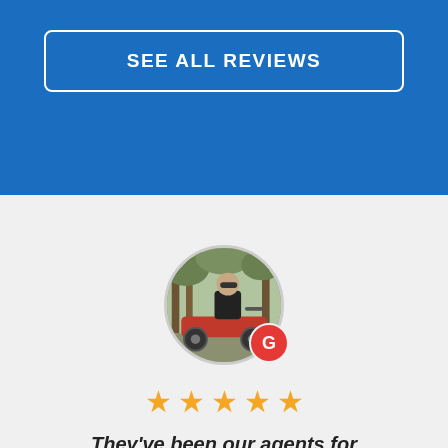SEE ALL REVIEWS
[Figure (photo): Circular profile photo of a person in a black leather jacket standing beside a red motorcycle outdoors, with a Google 'G' badge overlay in the bottom-right corner.]
★★★★★ (5 stars)
They've been our agents for